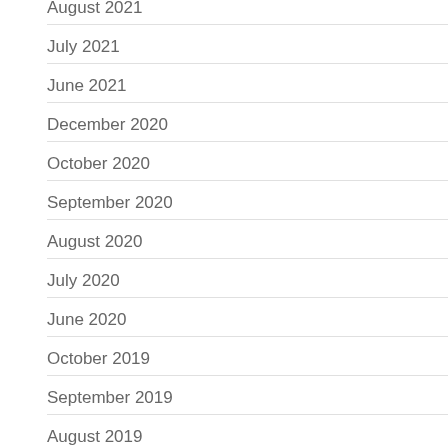August 2021
July 2021
June 2021
December 2020
October 2020
September 2020
August 2020
July 2020
June 2020
October 2019
September 2019
August 2019
July 2019